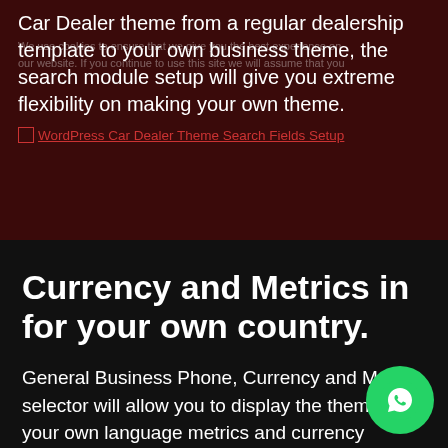Car Dealer theme from a regular dealership template to your own business theme, the search module setup will give you extreme flexibility on making your own theme.
[Figure (other): Broken image link placeholder: WordPress Car Dealer Theme Search Fields Setup]
Currency and Metrics in for your own country.
General Business Phone, Currency and Metrics selector will allow you to display the theme on your own language metrics and currency symbols.
[Figure (other): Broken image link placeholder: WordPress Car Dealer theme Currency and Metrics Selector]
[Figure (other): WhatsApp chat button (green circle with phone icon)]